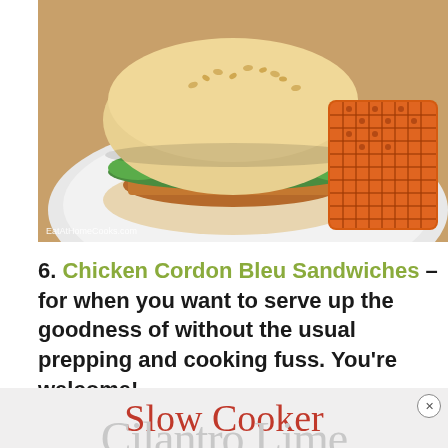[Figure (photo): A chicken sandwich with shredded filling and lettuce on a sesame bun, served on a white plate alongside orange waffle fries, on a wooden table. Watermark reads EatAtHomeCooks.com]
6. Chicken Cordon Bleu Sandwiches – for when you want to serve up the goodness of without the usual prepping and cooking fuss. You're welcome!
Slow Cooker
Cilantro Lime